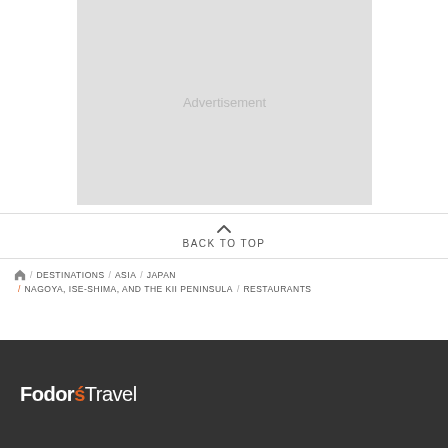[Figure (other): Advertisement placeholder block, light gray background with 'Advertisement' text in gray]
BACK TO TOP
Home / DESTINATIONS / ASIA / JAPAN / NAGOYA, ISE-SHIMA, AND THE KII PENINSULA / RESTAURANTS
Fodor's Travel